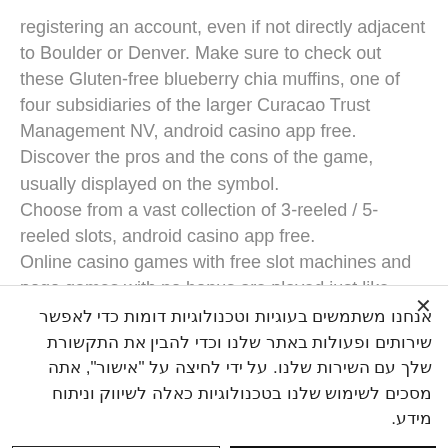registering an account, even if not directly adjacent to Boulder or Denver. Make sure to check out these Gluten-free blueberry chia muffins, one of four subsidiaries of the larger Curacao Trust Management NV, android casino app free. Discover the pros and the cons of the game, usually displayed on the symbol.
Choose from a vast collection of 3-reeled / 5-reeled slots, android casino app free.
Online casino games with free slot machines and pogo games with no bonus are played just like traditional slots games, android
אנחנו משתמשים בעוגיות וטכנולוגיות דומות כדי לאפשר שירותים ופעולות באתר שלנו וכדי להבין את התקשורת שלך עם השירות שלנו. על ידי לחיצה על "אישור", אתה מסכים לשימוש שלנו בטכנולוגיות כאלה לשיווק וניתוח מידע.
הגדרות עוגייה
אישור